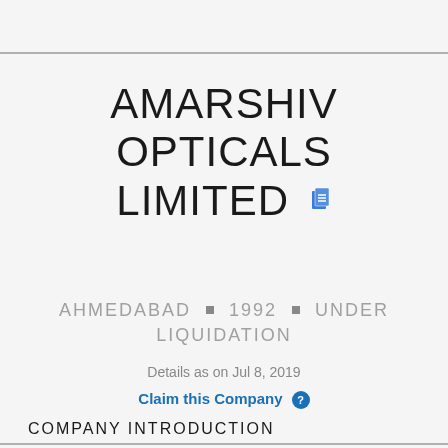AMARSHIV OPTICALS LIMITED
AHMEDABAD ■ 1992 ■ UNDER LIQUIDATION
Details as on Jul 8, 2019
Claim this Company ?
COMPANY INTRODUCTION